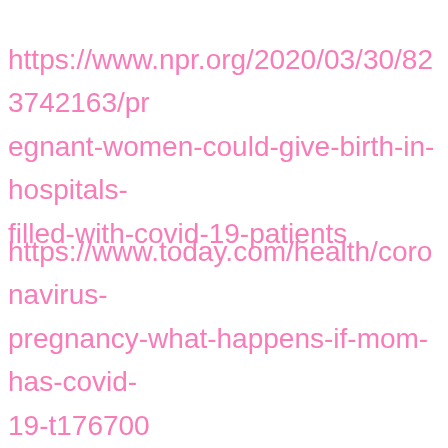https://www.npr.org/2020/03/30/823742163/pregnant-women-could-give-birth-in-hospitals-filled-with-covid-19-patients
https://www.today.com/health/coronavirus-pregnancy-what-happens-if-mom-has-covid-19-t176700